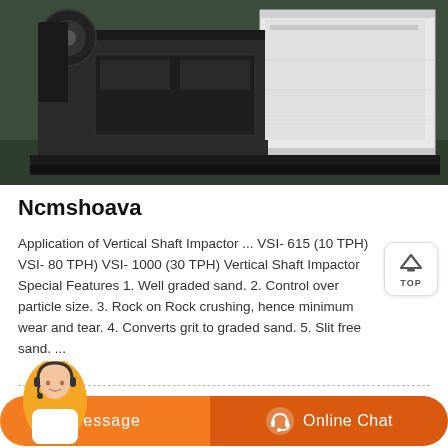[Figure (photo): Industrial machine (Vertical Shaft Impactor) in a warehouse/factory setting. The machine appears large and boxy with dark metal housing, viewed from the side/front angle.]
Ncmshoava
Application of Vertical Shaft Impactor ... VSI- 615 (10 TPH) VSI- 800 (20 TPH) VSI- 1000 (30 TPH) Vertical Shaft Impactor Special Features 1. Well graded sand. 2. Control over particle size. 3. Rock on Rock crushing, hence minimum wear and tear. 4. Converts grit to graded sand. 5. Slit free sand. ...
[Figure (infographic): Bottom UI bar with customer service agent photo, orange Message button, and Online Chat button with headset icon. Below that a partial view of another image row.]